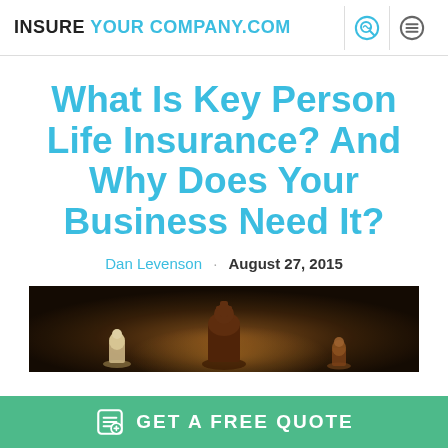INSURE YOUR COMPANY.COM
What Is Key Person Life Insurance? And Why Does Your Business Need It?
Dan Levenson · August 27, 2015
[Figure (photo): Chess pieces on a dark background, showing a prominent dark chess piece (king) in front of lighter pieces, symbolizing key person importance]
GET A FREE QUOTE